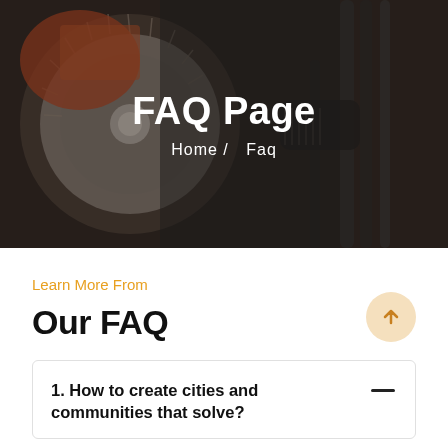[Figure (photo): Hero banner with dark background photo of industrial tools/machinery including a circular saw blade and metal pipes, with dark overlay]
FAQ Page
Home /   Faq
Learn More From
Our FAQ
1. How to create cities and communities that solve?